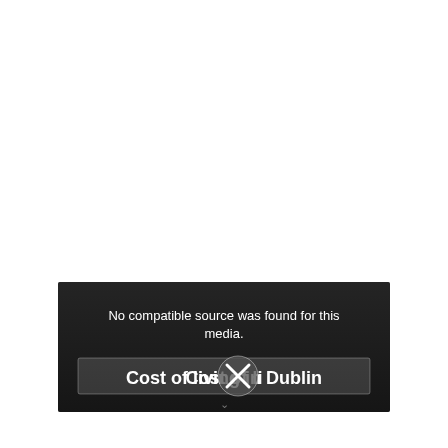[Figure (screenshot): A video player with a dark background showing an error message 'No compatible source was found for this media.' and a title overlay reading 'Cost of living in Dublin' with a close (X) button icon overlaid on the text.]